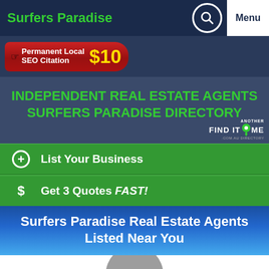Surfers Paradise
[Figure (infographic): Red SEO citation badge with text 'Permanent Local SEO Citation $10']
INDEPENDENT REAL ESTATE AGENTS SURFERS PARADISE DIRECTORY
[Figure (logo): Another Find It Near Me .com.au Directory logo]
List Your Business
Get 3 Quotes FAST!
Surfers Paradise Real Estate Agents Listed Near You
0.9kms